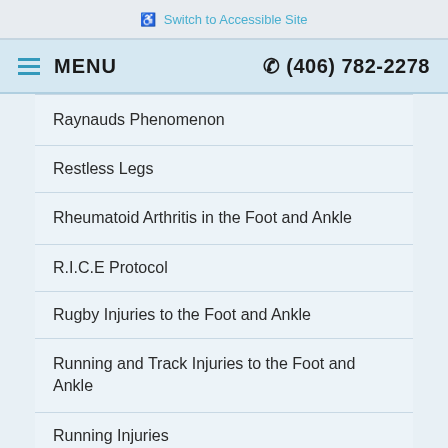Switch to Accessible Site
MENU   (406) 782-2278
Raynauds Phenomenon
Restless Legs
Rheumatoid Arthritis in the Foot and Ankle
R.I.C.E Protocol
Rugby Injuries to the Foot and Ankle
Running and Track Injuries to the Foot and Ankle
Running Injuries
Sesamoid Injuries in the Foot